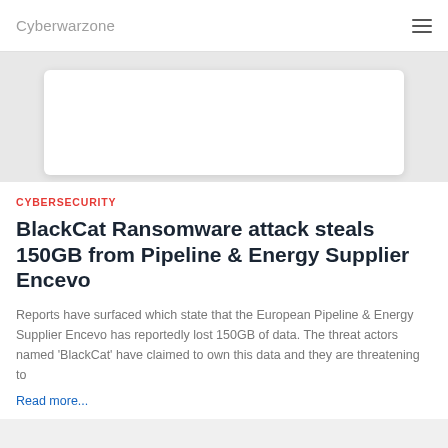Cyberwarzone
[Figure (other): White card placeholder image area on grey background]
CYBERSECURITY
BlackCat Ransomware attack steals 150GB from Pipeline & Energy Supplier Encevo
Reports have surfaced which state that the European Pipeline & Energy Supplier Encevo has reportedly lost 150GB of data. The threat actors named 'BlackCat' have claimed to own this data and they are threatening to
Read more...